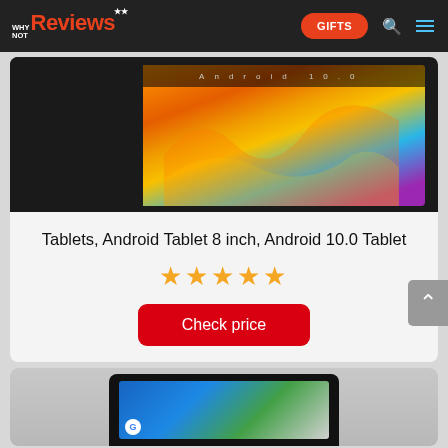Why Not Reviews — GIFTS
[Figure (photo): Android tablet product photo showing device with colorful wallpaper]
Tablets, Android Tablet 8 inch, Android 10.0 Tablet
★★★★★
Check price
[Figure (photo): Second tablet product photo, partially visible at bottom of page]